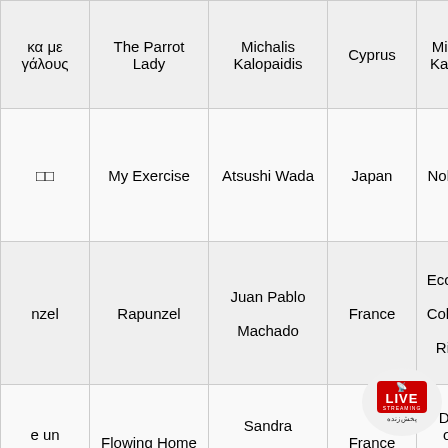| Col1 | Col2 (Title) | Col3 (Director) | Col4 (Country) | Col5 (Studio) |
| --- | --- | --- | --- | --- |
| κα με / γάλους | The Parrot Lady | Michalis Kalopaidis | Cyprus | Michalis Kalopai... |
| □□ | My Exercise | Atsushi Wada | Japan | Nobuaki... |
| nzel | Rapunzel | Juan Pablo Machado | France | Ecole Er... Cohl Ant... Rivier... |
| e un / re | Flowing Home | Sandra Desmazières | France | Dora... ous... Julie R... |